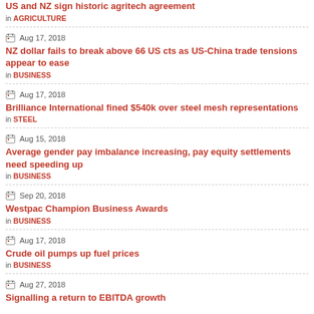US and NZ sign historic agritech agreement | in AGRICULTURE
Aug 17, 2018 | NZ dollar fails to break above 66 US cts as US-China trade tensions appear to ease | in BUSINESS
Aug 17, 2018 | Brilliance International fined $540k over steel mesh representations | in STEEL
Aug 15, 2018 | Average gender pay imbalance increasing, pay equity settlements need speeding up | in BUSINESS
Sep 20, 2018 | Westpac Champion Business Awards | in BUSINESS
Aug 17, 2018 | Crude oil pumps up fuel prices | in BUSINESS
Aug 27, 2018 | Signalling a return to EBITDA growth